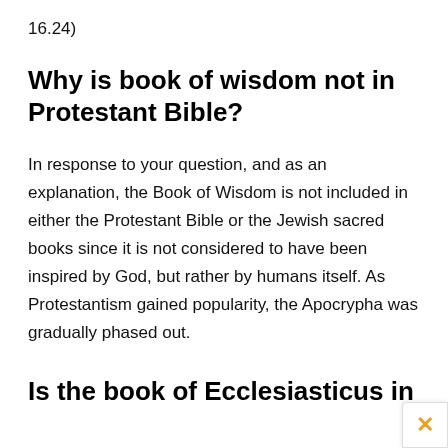16.24)
Why is book of wisdom not in Protestant Bible?
In response to your question, and as an explanation, the Book of Wisdom is not included in either the Protestant Bible or the Jewish sacred books since it is not considered to have been inspired by God, but rather by humans itself. As Protestantism gained popularity, the Apocrypha was gradually phased out.
Is the book of Ecclesiasticus in the Protestant Bible?